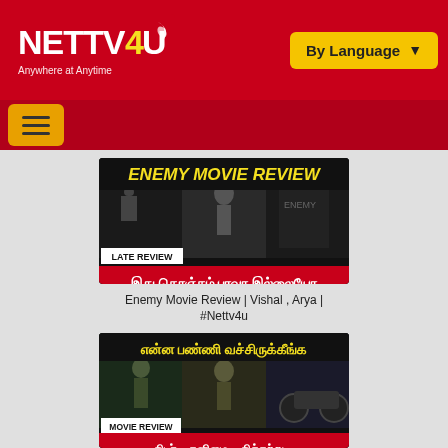[Figure (logo): NETTV4U logo - white text on red background, Anywhere at Anytime tagline]
[Figure (screenshot): By Language dropdown button in yellow/gold]
[Figure (screenshot): Hamburger menu button in orange on red navigation bar]
[Figure (screenshot): Enemy Movie Review thumbnail - yellow bold title text, movie posters collage, LATE REVIEW label, Tamil text below]
Enemy Movie Review | Vishal , Arya | #Nettv4u
[Figure (screenshot): Second movie review thumbnail - Tamil yellow title text, movie stills collage, MOVIE REVIEW label, Tamil text below]